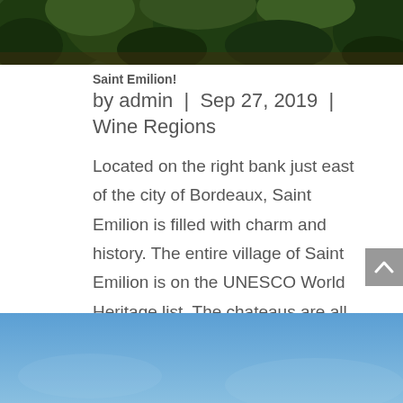[Figure (photo): Top portion of a nature/landscape photo showing dense green trees and foliage]
Saint Emilion!
by admin | Sep 27, 2019 | Wine Regions
Located on the right bank just east of the city of Bordeaux, Saint Emilion is filled with charm and history. The entire village of Saint Emilion is on the UNESCO World Heritage list. The chateaus are all so unique and producing some of the best wines in France. It is...
[Figure (photo): Bottom portion showing a blue sky photo, partially cropped]